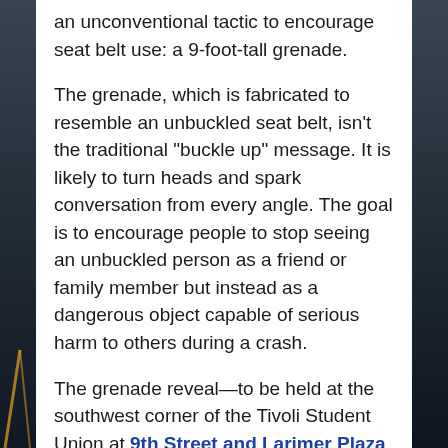an unconventional tactic to encourage seat belt use: a 9-foot-tall grenade.
The grenade, which is fabricated to resemble an unbuckled seat belt, isn't the traditional "buckle up" message. It is likely to turn heads and spark conversation from every angle. The goal is to encourage people to stop seeing an unbuckled person as a friend or family member but instead as a dangerous object capable of serious harm to others during a crash.
The grenade reveal—to be held at the southwest corner of the Tivoli Student Union at 9th Street and Larimer Plaza—launches CDOT's 2017 Beware of the Beltless seat belt safety campaign and will be displayed in public spaces around the